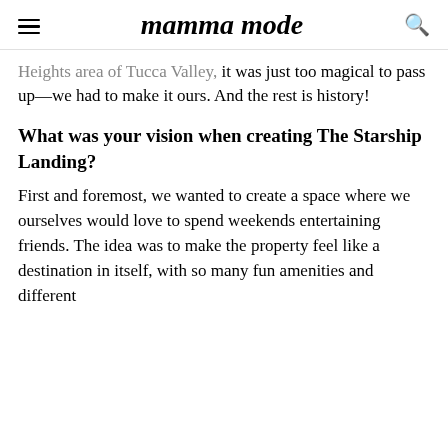mamma mode
Heights area of Tucca Valley, it was just too magical to pass up—we had to make it ours. And the rest is history!
What was your vision when creating The Starship Landing?
First and foremost, we wanted to create a space where we ourselves would love to spend weekends entertaining friends. The idea was to make the property feel like a destination in itself, with so many fun amenities and different